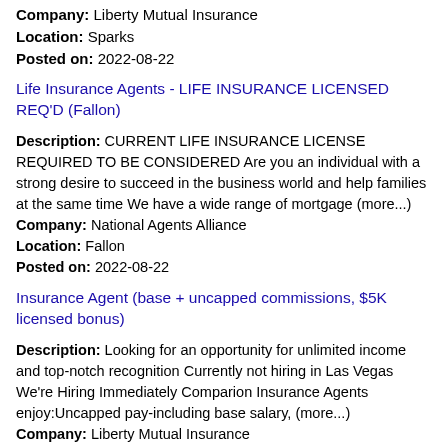Company: Liberty Mutual Insurance
Location: Sparks
Posted on: 2022-08-22
Life Insurance Agents - LIFE INSURANCE LICENSED REQ'D (Fallon)
Description: CURRENT LIFE INSURANCE LICENSE REQUIRED TO BE CONSIDERED Are you an individual with a strong desire to succeed in the business world and help families at the same time We have a wide range of mortgage (more...)
Company: National Agents Alliance
Location: Fallon
Posted on: 2022-08-22
Insurance Agent (base + uncapped commissions, $5K licensed bonus)
Description: Looking for an opportunity for unlimited income and top-notch recognition Currently not hiring in Las Vegas We're Hiring Immediately Comparion Insurance Agents enjoy:Uncapped pay-including base salary, (more...)
Company: Liberty Mutual Insurance
Location: Sparks
Posted on: 2022-08-25